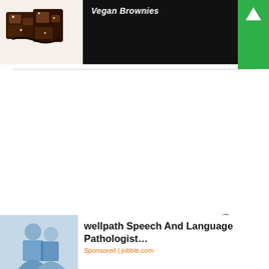[Figure (photo): Top banner showing vegan brownies image on left, dark black background with title 'Vegan Brownies' in the center, and green panel on right with app icon]
[Figure (photo): Advertisement banner at bottom with image of two women (medical/professional setting) on left and text 'wellpath Speech And Language Pathologist...' with 'Sponsored | jobble.com' below]